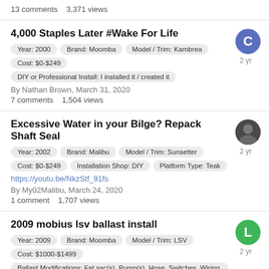13 comments   3,371 views
4,000 Staples Later #Wake For Life
Year: 2000   Brand: Moomba   Model / Trim: Kambrea
Cost: $0-$249
DIY or Professional Install: I installed it / created it
By Nathan Brown, March 31, 2020
7 comments   1,504 views
Excessive Water in your Bilge? Repack Shaft Seal
Year: 2002   Brand: Malibu   Model / Trim: Sunsetter
Cost: $0-$249   Installation Shop: DIY   Platform Type: Teak
https://youtu.be/NkzStf_91fs
By My02Malibu, March 24, 2020
1 comment   1,707 views
2009 mobius lsv ballast install
Year: 2009   Brand: Moomba   Model / Trim: LSV
Cost: $1000-$1499
Ballast Modifications: Fat sac(s), Pump(s), Hose, Switches, Wiring,